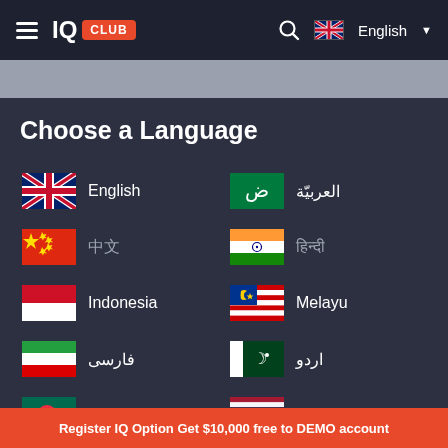IQ CLUB — English
Choose a Language
English
العربيّة
中文
हिन्दी
Indonesia
Melayu
فارسی
اردو
বাংলা
ภาษา
Register IQ Option Get $10,000 free to DEMO account